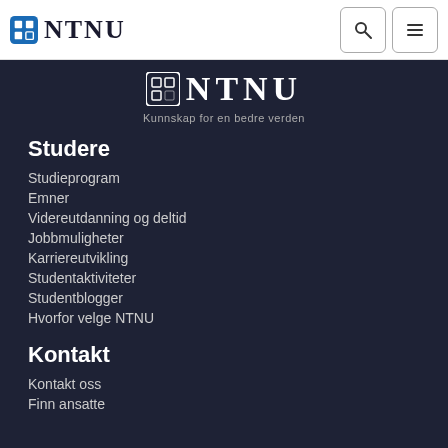NTNU header navigation bar with logo, search and menu buttons
[Figure (logo): NTNU logo with blue square icon and NTNU text in dark serif font]
[Figure (logo): NTNU logo on dark background with tagline Kunnskap for en bedre verden]
Kunnskap for en bedre verden
Studere
Studieprogram
Emner
Videreutdanning og deltid
Jobbmuligheter
Karriereutvikling
Studentaktiviteter
Studentblogger
Hvorfor velge NTNU
Kontakt
Kontakt oss
Finn ansatte